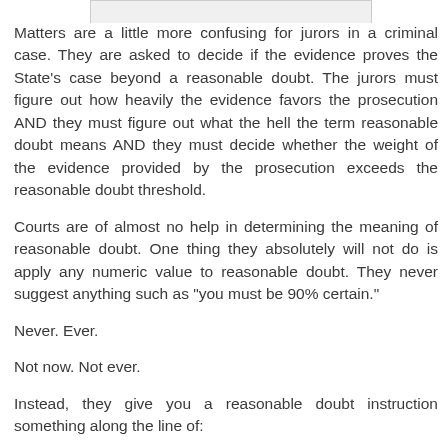[Figure (other): Top partial image/graphic element]
Matters are a little more confusing for jurors in a criminal case. They are asked to decide if the evidence proves the State's case beyond a reasonable doubt. The jurors must figure out how heavily the evidence favors the prosecution AND they must figure out what the hell the term reasonable doubt means AND they must decide whether the weight of the evidence provided by the prosecution exceeds the reasonable doubt threshold.
Courts are of almost no help in determining the meaning of reasonable doubt. One thing they absolutely will not do is apply any numeric value to reasonable doubt. They never suggest anything such as "you must be 90% certain."
Never. Ever.
Not now. Not ever.
Instead, they give you a reasonable doubt instruction something along the line of: